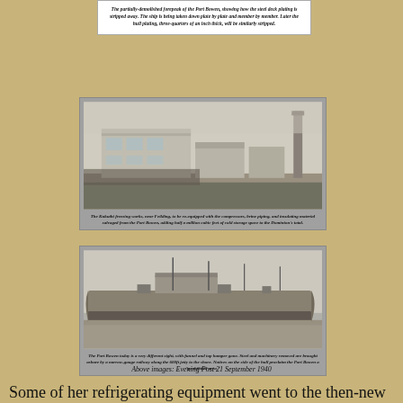The partially-demolished forepeak of the Port Bowen, showing how the steel deck plating is stripped away. The ship is being taken down plate by plate and member by member. Later the hull plating, three-quarters of an inch thick, will be similarly stripped.
[Figure (photo): Black and white photograph of the Kukuthi freezing works near Feilding, showing industrial buildings and a tall chimney stack.]
The Kukuthi freezing works, near Feilding, to be re-equipped with the compressors, brine piping, and insulating material salvaged from the Port Bowen, adding half a million cubic feet of cold storage space to the Dominion's total.
[Figure (photo): Black and white photograph of the Port Bowen taken from the side, with funnel and top hamper gone. Steel and machinery removed are brought ashore by a narrow-gauge railway along the 600ft jetty to the shore. Notices on the side of the hull proclaim the Port Bowen a 'prohibited area'.]
The Port Bowen today is a very different sight, with funnel and top hamper gone. Steel and machinery removed are brought ashore by a narrow-gauge railway along the 600ft jetty to the shore. Notices on the side of the hull proclaim the Port Bowen a "prohibited area."
Above images: Evening Post 21 September 1940
Some of her refrigerating equipment went to the then-new